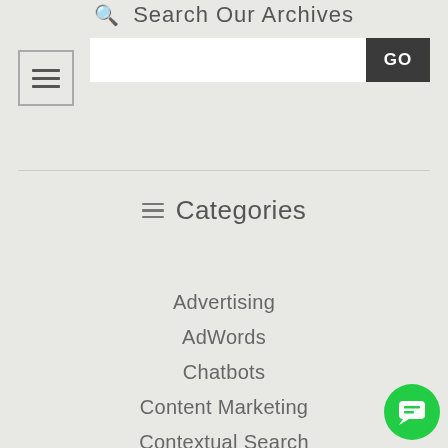Search Our Archives
Advertising
AdWords
Chatbots
Content Marketing
Contextual Search
Convertopages
Email Marketing
[Figure (screenshot): Green circular chat bubble icon in bottom-right corner]